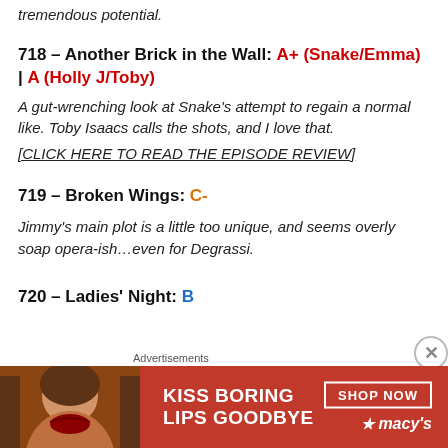tremendous potential.
718 – Another Brick in the Wall: A+ (Snake/Emma) | A (Holly J/Toby)
A gut-wrenching look at Snake's attempt to regain a normal like. Toby Isaacs calls the shots, and I love that.
[CLICK HERE TO READ THE EPISODE REVIEW]
719 – Broken Wings: C-
Jimmy's main plot is a little too unique, and seems overly soap opera-ish…even for Degrassi.
720 – Ladies' Night: B
[Figure (infographic): Advertisement banner for Macy's with text 'KISS BORING LIPS GOODBYE' and a woman's face, SHOP NOW button and Macy's logo with star]